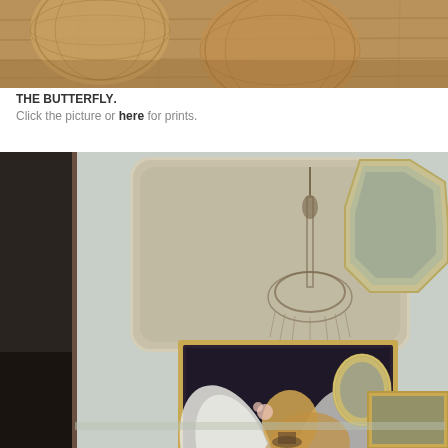[Figure (photo): Close-up photo of wicker/rattan balls and wooden floor surface with warm brown tones]
THE BUTTERFLY. Click the picture or here for prints.
[Figure (photo): Interior room scene with vintage mirrors on light blue-grey wall, a crystal chandelier painting/artwork at top, a framed painting of a woman with white wings and flowers in her hair in gold frame, smaller ornate oval mirror, additional gold-framed mirrors, and a dark doorway on the left]